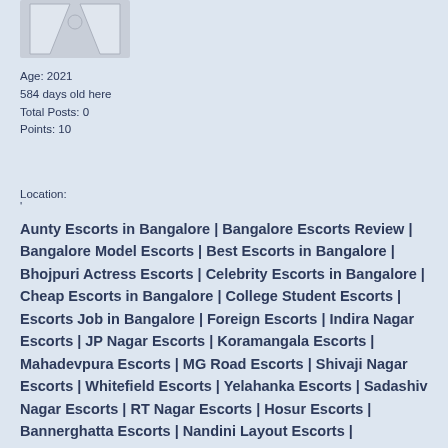[Figure (illustration): Default user avatar image placeholder]
Age: 2021
584 days old here
Total Posts: 0
Points: 10
Location:
'
Aunty Escorts in Bangalore | Bangalore Escorts Review | Bangalore Model Escorts | Best Escorts in Bangalore | Bhojpuri Actress Escorts | Celebrity Escorts in Bangalore | Cheap Escorts in Bangalore | College Student Escorts | Escorts Job in Bangalore | Foreign Escorts | Indira Nagar Escorts | JP Nagar Escorts | Koramangala Escorts | Mahadevpura Escorts | MG Road Escorts | Shivaji Nagar Escorts | Whitefield Escorts | Yelahanka Escorts | Sadashiv Nagar Escorts | RT Nagar Escorts | Hosur Escorts | Bannerghatta Escorts | Nandini Layout Escorts | Marathahalli Escorts | Jalahalli Escorts | Taj Hotel Bangalore Escorts | Shanti Nagar Escorts | Old Airport Escorts | Basavanagudi Escorts | Ashok nagar escorts | Majestic escorts | UB City Escorts | Hubli Escorts | Delhi Escorts | Ahmedabad Escorts | Morbi Escorts | Rudrapur Escorts